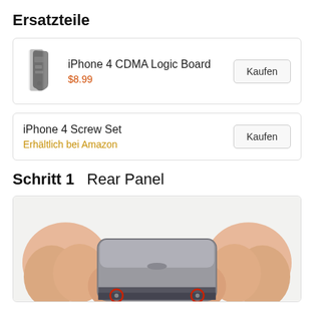Ersatzteile
| Product | Price | Action |
| --- | --- | --- |
| iPhone 4 CDMA Logic Board | $8.99 | Kaufen |
| iPhone 4 Screw Set | Erhältlich bei Amazon | Kaufen |
Schritt 1    Rear Panel
[Figure (photo): Hands holding an iPhone 4 by its bottom edge, showing the rear panel with two red-circled screws at the bottom corners.]